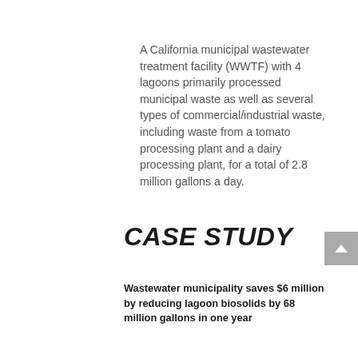A California municipal wastewater treatment facility (WWTF) with 4 lagoons primarily processed municipal waste as well as several types of commercial/industrial waste, including waste from a tomato processing plant and a dairy processing plant, for a total of 2.8 million gallons a day.
CASE STUDY
Wastewater municipality saves $6 million by reducing lagoon biosolids by 68 million gallons in one year